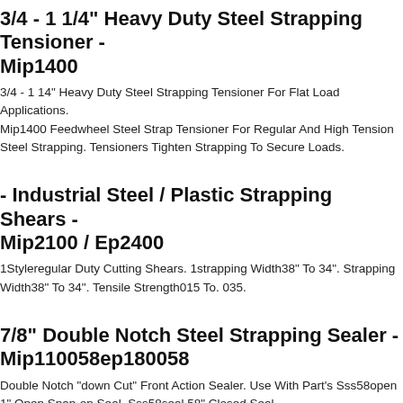3/4 - 1 1/4" Heavy Duty Steel Strapping Tensioner - Mip1400
3/4 - 1 14" Heavy Duty Steel Strapping Tensioner For Flat Load Applications. Mip1400 Feedwheel Steel Strap Tensioner For Regular And High Tension Steel Strapping. Tensioners Tighten Strapping To Secure Loads.
- Industrial Steel / Plastic Strapping Shears - Mip2100 / Ep2400
1Styleregular Duty Cutting Shears. 1strapping Width38" To 34". Strapping Width38" To 34". Tensile Strength015 To. 035.
7/8" Double Notch Steel Strapping Sealer - Mip110058ep180058
Double Notch "down Cut" Front Action Sealer. Use With Part's Sss58open 1" Open Snap-on Seal, Sss58seal 58" Closed Seal.
Mip 1200 Tensioner & Seal Crimp Tool For 1/2"